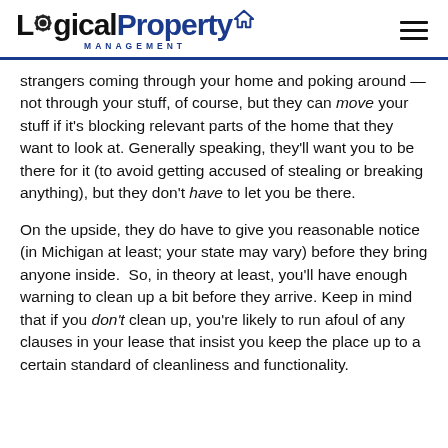Logical Property Management
strangers coming through your home and poking around — not through your stuff, of course, but they can move your stuff if it's blocking relevant parts of the home that they want to look at. Generally speaking, they'll want you to be there for it (to avoid getting accused of stealing or breaking anything), but they don't have to let you be there.
On the upside, they do have to give you reasonable notice (in Michigan at least; your state may vary) before they bring anyone inside.  So, in theory at least, you'll have enough warning to clean up a bit before they arrive. Keep in mind that if you don't clean up, you're likely to run afoul of any clauses in your lease that insist you keep the place up to a certain standard of cleanliness and functionality.